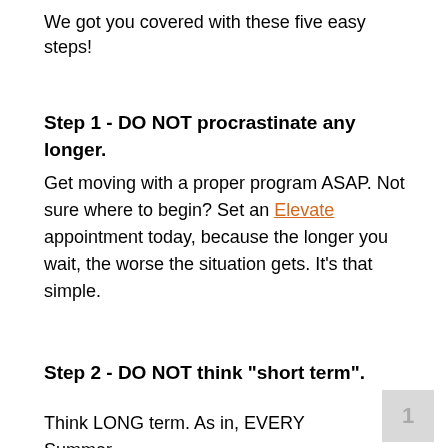We got you covered with these five easy steps!
Step 1 - DO NOT procrastinate any longer.
Get moving with a proper program ASAP. Not sure where to begin? Set an Elevate appointment today, because the longer you wait, the worse the situation gets. It's that simple.
Step 2 - DO NOT think "short term".
Think LONG term. As in, EVERY Summer.